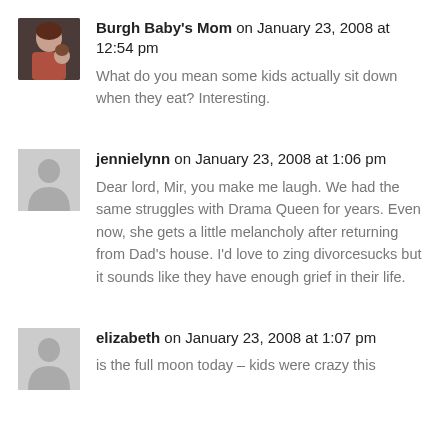[Figure (photo): Profile photo of Burgh Baby's Mom, showing a woman with a child]
Burgh Baby's Mom on January 23, 2008 at 12:54 pm
What do you mean some kids actually sit down when they eat? Interesting.
[Figure (illustration): Default grey silhouette avatar for jennielynn]
jennielynn on January 23, 2008 at 1:06 pm
Dear lord, Mir, you make me laugh. We had the same struggles with Drama Queen for years. Even now, she gets a little melancholy after returning from Dad's house. I'd love to zing divorcesucks but it sounds like they have enough grief in their life.
[Figure (illustration): Default grey silhouette avatar for elizabeth]
elizabeth on January 23, 2008 at 1:07 pm
is the full moon today – kids were crazy this